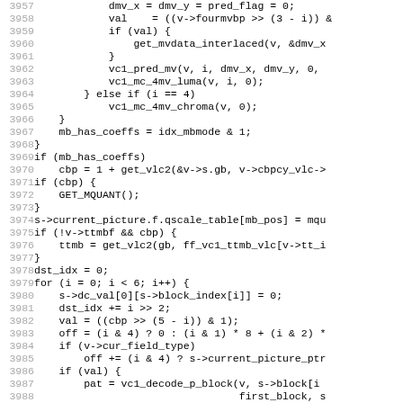[Figure (screenshot): Source code listing in monospace font, lines 3957–3988+, showing C code for a video codec function including motion vector handling, VLC decoding, and block processing loops.]